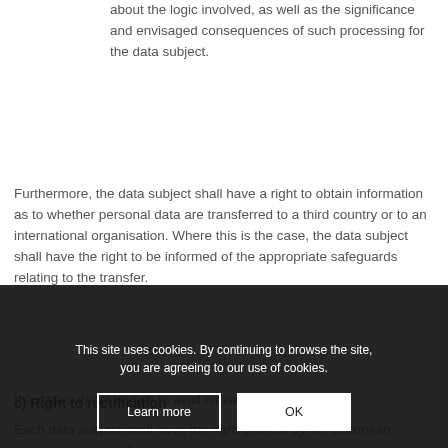about the logic involved, as well as the significance and envisaged consequences of such processing for the data subject.
Furthermore, the data subject shall have a right to obtain information as to whether personal data are transferred to a third country or to an international organisation. Where this is the case, the data subject shall have the right to be informed of the appropriate safeguards relating to the transfer.
If a data subject wishes to avail himself of this right of access, he or she may, at any time, contact any employee of the controller.
c) Right to rectification
Each data subject shall have the right granted by the European legislator to obtain from the